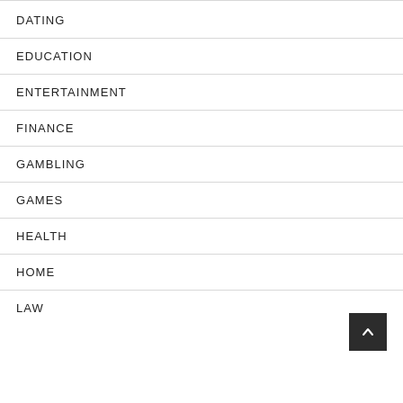DATING
EDUCATION
ENTERTAINMENT
FINANCE
GAMBLING
GAMES
HEALTH
HOME
LAW